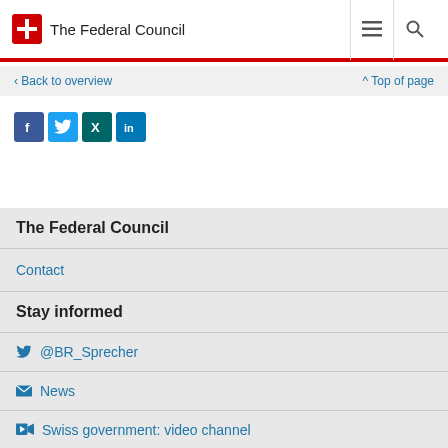The Federal Council
‹ Back to overview
^ Top of page
[Figure (other): Social media share icons: Facebook, Twitter, XING, LinkedIn]
The Federal Council
Contact
Stay informed
@BR_Sprecher
News
Swiss government: video channel